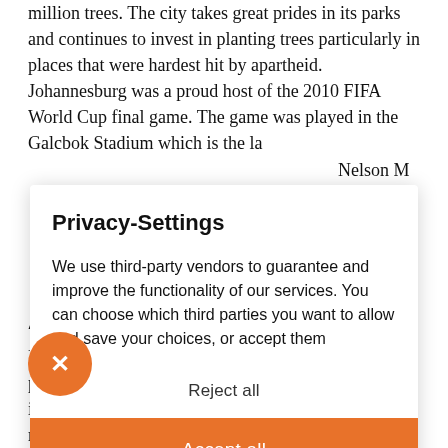million trees. The city takes great prides in its parks and continues to invest in planting trees particularly in places that were hardest hit by apartheid. Johannesburg was a proud host of the 2010 FIFA World Cup final game. The game was played in the Galcbok Stadium which is the la[rgest...] Nelson M[andela...] onment in[...] rg we k[...] nd d[...] the 1[...] city full o[...] a s[...] n on the H[...] April, o[...] hat cool p[...] hs, May –[...] cool off dramatically once the sun goes down.
A[ttractions]
Kruger National Park was South Africa's first national park in 1926 and today it is one of the largest game reserves in
Privacy-Settings
We use third-party vendors to guarantee and improve the functionality of our services. You can choose which third parties you want to allow and save your choices, or accept them
Reject all
Accept all